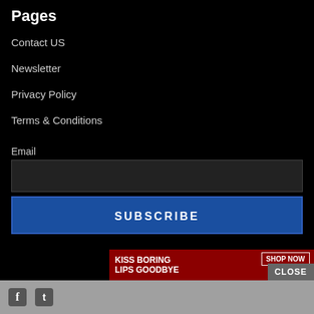Pages
Contact US
Newsletter
Privacy Policy
Terms & Conditions
Email
SUBSCRIBE
CLOSE
[Figure (screenshot): Macy's advertisement banner: 'KISS BORING LIPS GOODBYE' with SHOP NOW button and Macy's star logo]
Social media icons: Facebook, Twitter